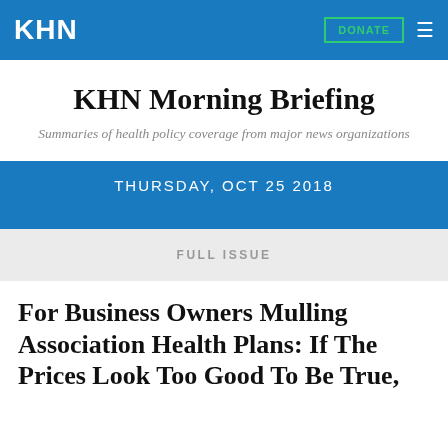KHN
KHN Morning Briefing
Summaries of health policy coverage from major news organizations
THURSDAY, OCT 25 2018
FULL ISSUE
For Business Owners Mulling Association Health Plans: If The Prices Look Too Good To Be True,